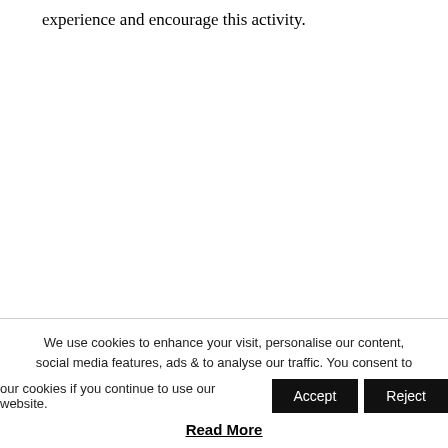experience and encourage this activity.
All this requires a change in operating model to
We use cookies to enhance your visit, personalise our content, social media features, ads & to analyse our traffic. You consent to our cookies if you continue to use our website.
Accept
Reject
Read More